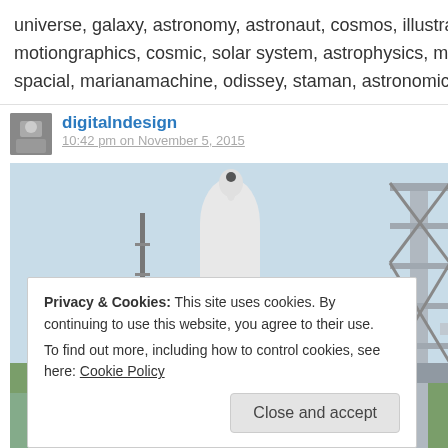universe, galaxy, astronomy, astronaut, cosmos, illustrator, jupiter, planets, spaceship, motiongraphics, cosmic, solar system, astrophysics, milky, starship, uranus, outerspace, spacial, marianamachine, odissey, staman, astronomic via http://ift.tt/1qPYDVX
digitalndesign
10:42 pm on November 5, 2015
[Figure (photo): Photo of a rocket launch facility/pad showing a white rocket structure and metal scaffolding/launch tower with sky and green landscape in background]
Privacy & Cookies: This site uses cookies. By continuing to use this website, you agree to their use.
To find out more, including how to control cookies, see here: Cookie Policy
Close and accept